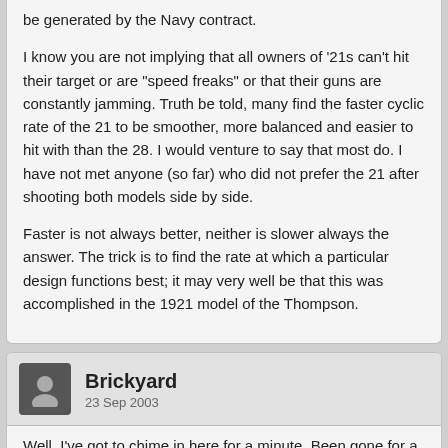be generated by the Navy contract.
I know you are not implying that all owners of '21s can't hit their target or are "speed freaks" or that their guns are constantly jamming. Truth be told, many find the faster cyclic rate of the 21 to be smoother, more balanced and easier to hit with than the 28. I would venture to say that most do. I have not met anyone (so far) who did not prefer the 21 after shooting both models side by side.
Faster is not always better, neither is slower always the answer. The trick is to find the rate at which a particular design functions best; it may very well be that this was accomplished in the 1921 model of the Thompson.
Brickyard
23 Sep 2003
Well, I've got to chime in here for a minute. Been gone for a while ... bee sting kinda thing ... film at 11:00
Have to echo the SOOO HAPPY coment from above. PK too provide me with a 21 kit and a, very nicely I might add, re-worked drum. My pun runs so well it's just great. I like the speed of the 21. I find it far